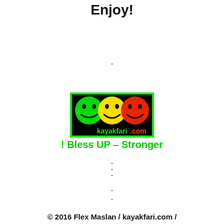Enjoy!
·
·
·
[Figure (logo): kayakfari.com logo with three smiley faces (green, yellow, red) on black background with green border]
! Bless UP – Stronger
·
·
·
© 2016 Flex Maslan / kayakfari.com /